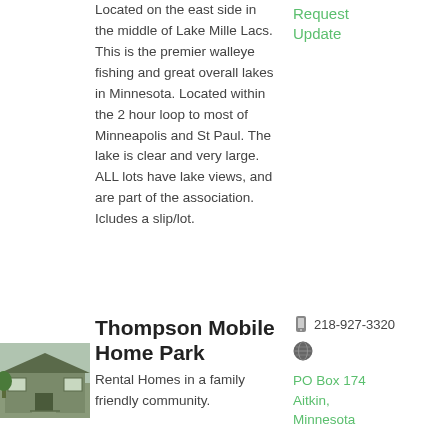Located on the east side in the middle of Lake Mille Lacs. This is the premier walleye fishing and great overall lakes in Minnesota. Located within the 2 hour loop to most of Minneapolis and St Paul. The lake is clear and very large. ALL lots have lake views, and are part of the association. Icludes a slip/lot.
Request Update
Thompson Mobile Home Park
[Figure (photo): Photo of a residential mobile home, gray/green siding with a small porch and steps]
Rental Homes in a family friendly community.
218-927-3320
PO Box 174 Aitkin, Minnesota